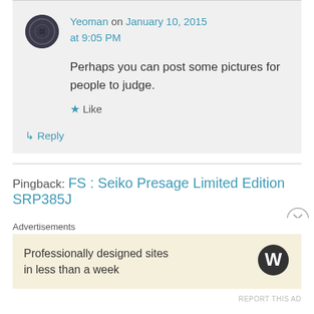Yeoman on January 10, 2015 at 9:05 PM
Perhaps you can post some pictures for people to judge.
★ Like
↳ Reply
Pingback: FS : Seiko Presage Limited Edition SRP385J
Advertisements
Professionally designed sites in less than a week